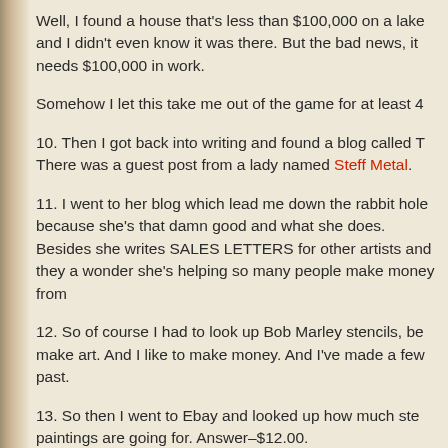Well, I found a house that's less than $100,000 on a lake and I didn't even know it was there. But the bad news, it needs $100,000 in work.
Somehow I let this take me out of the game for at least 4
10. Then I got back into writing and found a blog called T There was a guest post from a lady named Steff Metal.
11. I went to her blog which lead me down the rabbit hole because she's that damn good and what she does. Besides she writes SALES LETTERS for other artists and they a wonder she's helping so many people make money from
12. So of course I had to look up Bob Marley stencils, be make art. And I like to make money. And I've made a few past.
13. So then I went to Ebay and looked up how much ste paintings are going for. Answer–$12.00.
So I decided to write this post about Scanners instead